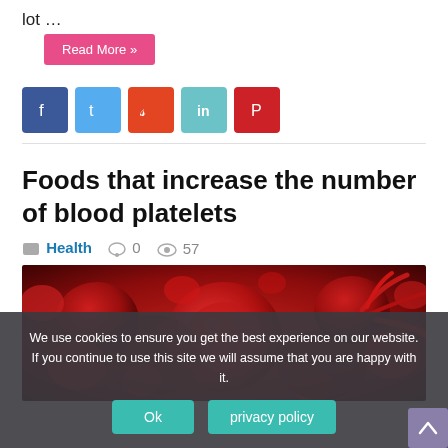lot …
Read More »
[Figure (other): Social media share buttons: Facebook (blue), Twitter (light blue), StumbleUpon (orange-red), LinkedIn (teal), Pinterest (red)]
Foods that increase the number of blood platelets
Health  0  57
[Figure (photo): Close-up microscopic image of red blood cells and platelets on a red/dark background]
We use cookies to ensure you get the best experience on our website. If you continue to use this site we will assume that you are happy with it.
Ok    privacy policy